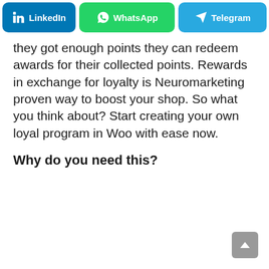[Figure (screenshot): Social share buttons row: LinkedIn (blue), WhatsApp (green), Telegram (light blue)]
they got enough points they can redeem awards for their collected points. Rewards in exchange for loyalty is Neuromarketing proven way to boost your shop. So what you think about? Start creating your own loyal program in Woo with ease now.
Why do you need this?